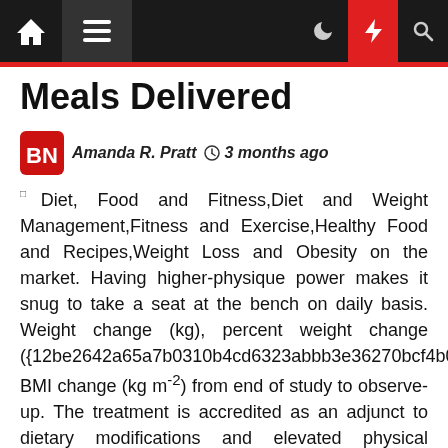Meals Delivered - Navigation bar
Meals Delivered
Amanda R. Pratt  3 months ago
Diet, Food and Fitness,Diet and Weight Management,Fitness and Exercise,Healthy Food and Recipes,Weight Loss and Obesity on the market. Having higher-physique power makes it snug to take a seat at the bench on daily basis. Weight change (kg), percent weight change ({12be2642a65a7b0310b4cd6323abbb3e36270bcf4b0c BMI change (kg m-2) from end of study to observe-up. The treatment is accredited as an adjunct to dietary modifications and elevated physical exercise in adults with an preliminary BMI of 30 or higher or